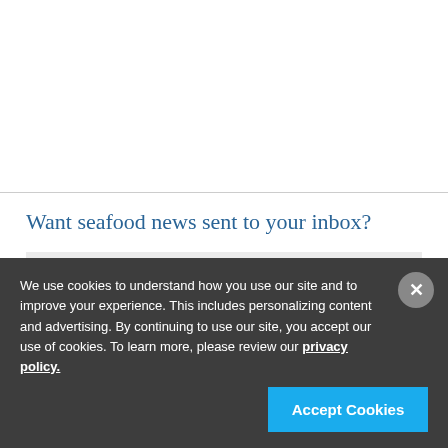Want seafood news sent to your inbox?
Email Address
We use cookies to understand how you use our site and to improve your experience. This includes personalizing content and advertising. By continuing to use our site, you accept our use of cookies. To learn more, please review our privacy policy.
Accept Cookies